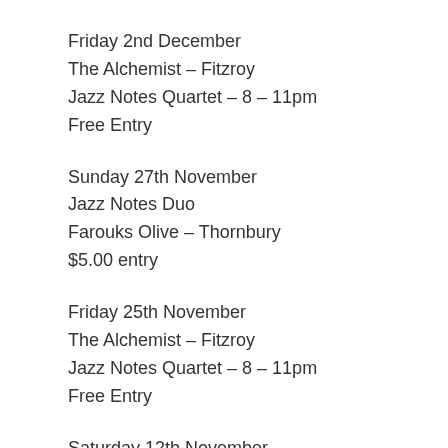Friday 2nd December
The Alchemist – Fitzroy
Jazz Notes Quartet – 8 – 11pm
Free Entry
Sunday 27th November
Jazz Notes Duo
Farouks Olive – Thornbury
$5.00 entry
Friday 25th November
The Alchemist – Fitzroy
Jazz Notes Quartet – 8 – 11pm
Free Entry
Saturday 12th November
Pippa Wilson with Jazz Notes with at the Ringwood RSL